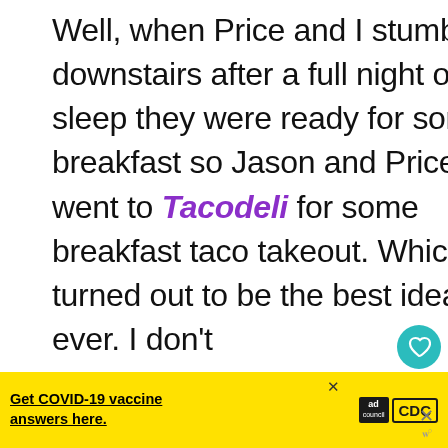Well, when Price and I stumbled downstairs after a full night of sleep they were ready for some breakfast so Jason and Pricer went to Tacodeli for some breakfast taco takeout. Which turned out to be the best idea ever. I don't k...
[Figure (infographic): Heart/like button (teal circle with white heart icon), count label '1', share button (circle with share icon)]
[Figure (infographic): What's Next arrow label with small food thumbnail image and text 'BBQ Chip Shake and...']
[Figure (infographic): Yellow ad banner: 'Get COVID-19 vaccine answers here.' with ad council and CDC logos, close X button, and right side X close button]